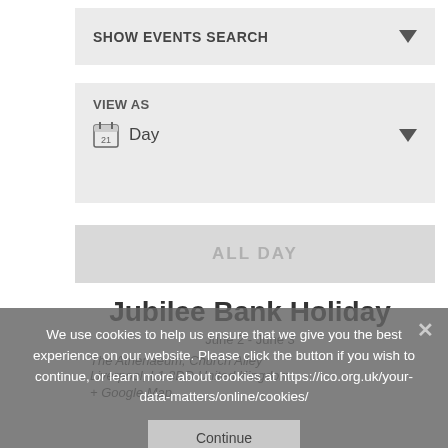SHOW EVENTS SEARCH
VIEW AS
Day
ALL DAY
Jubilee Bank Holiday
June 2 - June 3
The Athenaeum, Church Alley Liverpool, L1 3DD United Kingdom + Google Map
We use cookies to help us ensure that we give you the best experience on our website. Please click the button if you wish to continue, or learn more about cookies at https://ico.org.uk/your-data-matters/online/cookies/
Continue